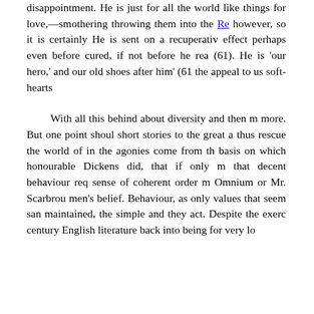disappointment. He is just for all the world like things for love,—smothering throwing them into the Re however, so it is certainly He is sent on a recuperati effect perhaps even befor cured, if not before he rea (61). He is 'our hero,' and our old shoes after him' (6 the appeal to us soft-hearts
With all this behind about diversity and then m more. But one point shoul short stories to the great a thus rescue the world of in the agonies come from th basis on which honourable Dickens did, that if only m that decent behaviour req sense of coherent order m Omnium or Mr. Scarbrou men's belief. Behaviour, as only values that seem san maintained, the simple and they act. Despite the exerc century English literature back into being for very lo